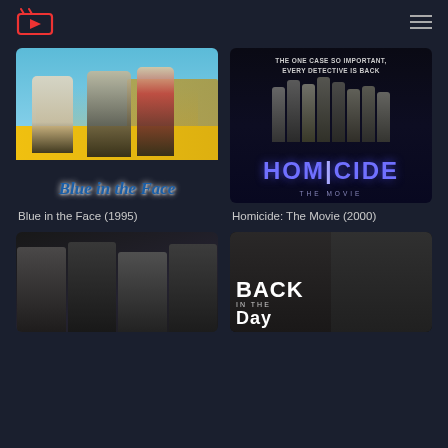Streaming app header with logo and hamburger menu
[Figure (screenshot): Movie poster for Blue in the Face (1995) - three people sitting on a yellow taxi cab with Brooklyn Bridge in background, stylized blue script title]
Blue in the Face (1995)
[Figure (screenshot): Movie poster for Homicide: The Movie (2000) - group of detectives in dark blue tones with large HOMICIDE title text and tagline 'THE ONE CASE SO IMPORTANT, EVERY DETECTIVE IS BACK']
Homicide: The Movie (2000)
[Figure (photo): Movie poster partially visible - dark toned with faces of multiple people]
[Figure (screenshot): Movie poster for Back in the Day featuring Ja Rule and Ving Rhames - close up faces with large white bold title text]